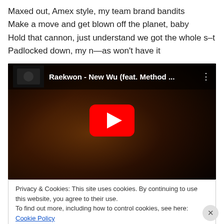Maxed out, Amex style, my team brand bandits
Make a move and get blown off the planet, baby
Hold that cannon, just understand we got the whole s–t
Padlocked down, my n—as won't have it
[Figure (screenshot): YouTube video embed showing 'Raekwon - New Wu (feat. Method ...' with a large red play button in the center over a dark thumbnail of a person.]
Privacy & Cookies: This site uses cookies. By continuing to use this website, you agree to their use.
To find out more, including how to control cookies, see here: Cookie Policy
Close and accept